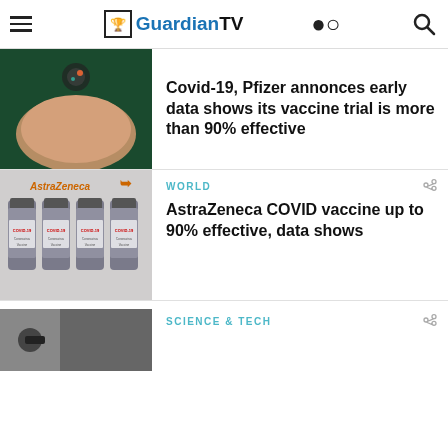GuardianTV
Covid-19, Pfizer annonces early data shows its vaccine trial is more than 90% effective
WORLD
AstraZeneca COVID vaccine up to 90% effective, data shows
SCIENCE & TECH